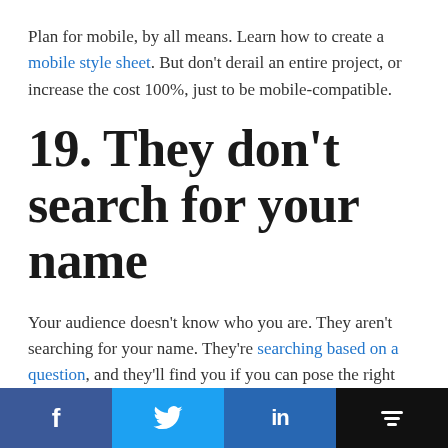Plan for mobile, by all means. Learn how to create a mobile style sheet. But don't derail an entire project, or increase the cost 100%, just to be mobile-compatible.
19. They don't search for your name
Your audience doesn't know who you are. They aren't searching for your name. They're searching based on a question, and they'll find you if you can pose the right